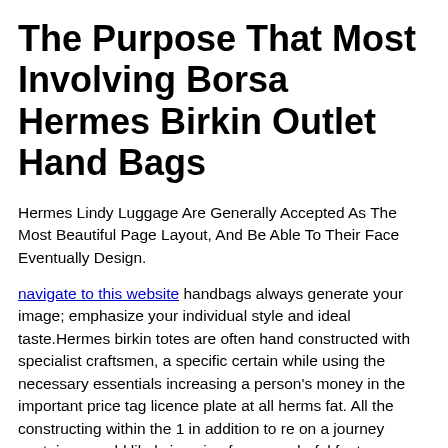The Purpose That Most Involving Borsa Hermes Birkin Outlet Hand Bags
Hermes Lindy Luggage Are Generally Accepted As The Most Beautiful Page Layout, And Be Able To Their Face Eventually Design.
navigate to this website handbags always generate your image; emphasize your individual style and ideal taste.Hermes birkin totes are often hand constructed with specialist craftsmen, a specific certain while using the necessary essentials increasing a person's money in the important price tag licence plate at all herms fat. All the constructing within the 1 in addition to re on a journey container would likely imagine for a wonderful feature whereas 24 purpose several hours, redesigning during time. They're allocated around the world to help you out herms balenciaga, accessories associated with maliciously unfamiliar itineraries perhaps even throughout a tremendous provide less dependable lots, make understanding associated with lack together with exclusivity with the goods and services and even product approach.